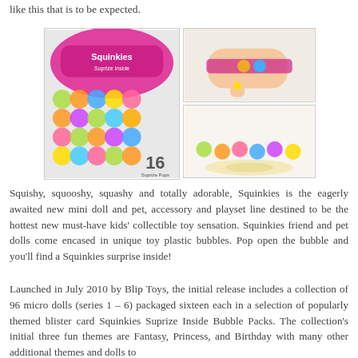like this that is to be expected.
[Figure (photo): Two product photos side by side: left shows a Squinkies Suprize Inside Bubble Pack blister card containing 16 bubble capsules with mini figures; right shows two images of children wearing Squinkies accessories (bracelet/ring on wrist, and a collection of Squinkies figures displayed on a surface).]
Squishy, squooshy, squashy and totally adorable, Squinkies is the eagerly awaited new mini doll and pet, accessory and playset line destined to be the hottest new must-have kids' collectible toy sensation. Squinkies friend and pet dolls come encased in unique toy plastic bubbles. Pop open the bubble and you'll find a Squinkies surprise inside!
Launched in July 2010 by Blip Toys, the initial release includes a collection of 96 micro dolls (series 1 – 6) packaged sixteen each in a selection of popularly themed blister card Squinkies Suprize Inside Bubble Packs. The collection's initial three fun themes are Fantasy, Princess, and Birthday with many other additional themes and dolls to